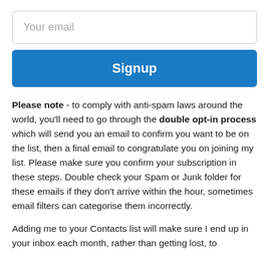[Figure (screenshot): Email input field with placeholder text 'Your email']
[Figure (screenshot): Blue 'Signup' button]
Please note - to comply with anti-spam laws around the world, you'll need to go through the double opt-in process which will send you an email to confirm you want to be on the list, then a final email to congratulate you on joining my list. Please make sure you confirm your subscription in these steps. Double check your Spam or Junk folder for these emails if they don't arrive within the hour, sometimes email filters can categorise them incorrectly.
Adding me to your Contacts list will make sure I end up in your inbox each month, rather than getting lost, too...